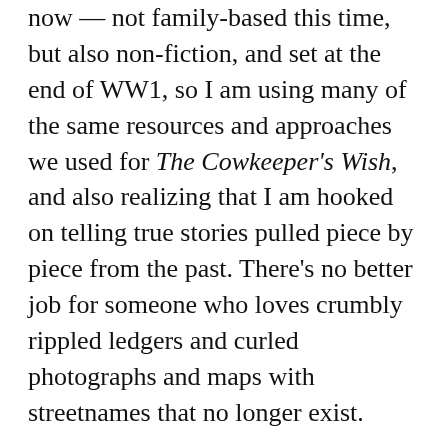now — not family-based this time, but also non-fiction, and set at the end of WW1, so I am using many of the same resources and approaches we used for The Cowkeeper's Wish, and also realizing that I am hooked on telling true stories pulled piece by piece from the past. There's no better job for someone who loves crumbly rippled ledgers and curled photographs and maps with streetnames that no longer exist.
Tracy has this same pull to the past, and so we were both delighted to see the cover design for The Cowkeeper's Wish, which is in its own way a layering of resources. The images were cleverly put together by Anne